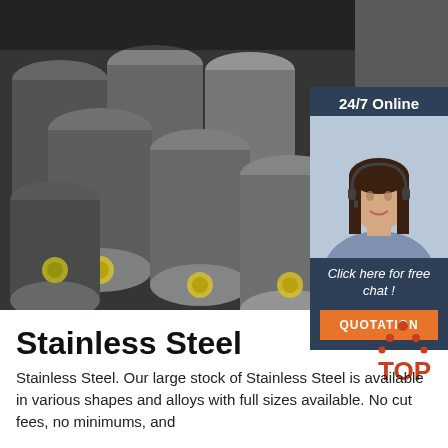[Figure (photo): Stack of stainless steel round bars/rods in a warehouse, ends facing viewer with yellow stickers visible]
[Figure (photo): Customer service representative, woman with headset smiling, 24/7 Online support panel with orange QUOTATION button]
Stainless Steel
[Figure (logo): TOP logo with orange triangle/dots and red text]
Stainless Steel. Our large stock of Stainless Steel is available in various shapes and alloys with full sizes available. No cut fees, no minimums, and